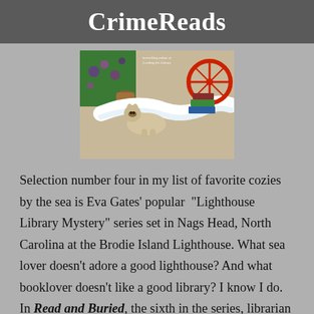CrimeReads
[Figure (illustration): Book cover illustration showing a Siamese cat lying on a white cloth or paper trail, with books, a red wheel, and garden items in the background, in a colorful painted style.]
Selection number four in my list of favorite cozies by the sea is Eva Gates' popular “Lighthouse Library Mystery” series set in Nags Head, North Carolina at the Brodie Island Lighthouse. What sea lover doesn’t adore a good lighthouse? And what booklover doesn’t like a good library? I know I do. In Read and Buried, the sixth in the series, librarian Lucy Richardson unearths a map dating from the Civil War, along with a page written in undecipherable code. But that’s not